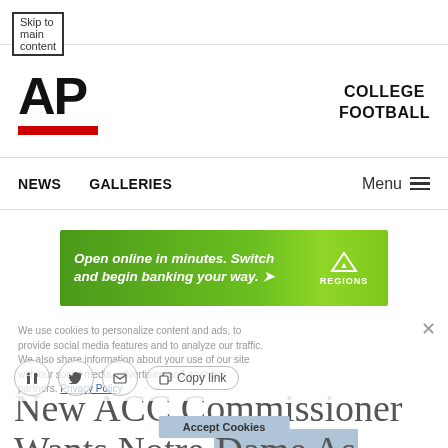Skip to main content
[Figure (logo): AP (Associated Press) logo with red underline bar]
COLLEGE FOOTBALL
NEWS   GALLERIES   Menu
[Figure (infographic): Regions Bank advertisement banner: Open online in minutes. Switch and begin banking your way.]
We use cookies to personalize content and ads, to provide social media features and to analyze our traffic. We also share information about your use of our site with our social media, advertising and analytics partners. Privacy Policy
New ACC Commissioner Wants Notre Dame As Football M...